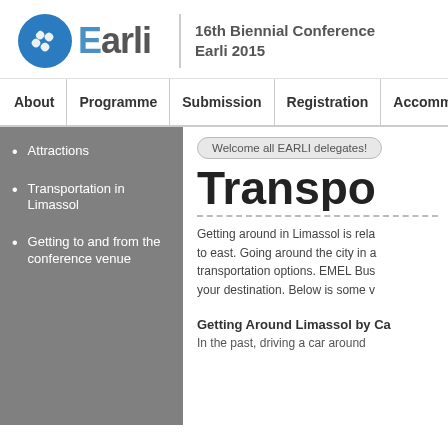[Figure (logo): EARLI logo with blue puzzle piece circle and grey 'Earli' text, followed by vertical divider and '16th Biennial Conference Earli 2015' text]
About | Programme | Submission | Registration | Accommodation
Attractions
Transportation in Limassol
Getting to and from the conference venue
Welcome all EARLI delegates!
Transpo
Getting around in Limassol is rela to east. Going around the city in a transportation options. EMEL Bus your destination. Below is some v
Getting Around Limassol by Ca
In the past, driving a car around